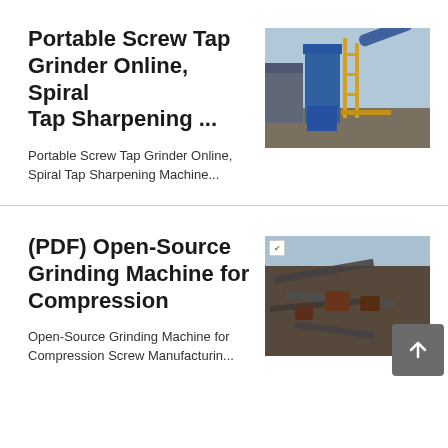Portable Screw Tap Grinder Online, Spiral Tap Sharpening ...
[Figure (photo): Industrial blue silo/tower with yellow structural frame and conveyor belt, outdoor industrial facility]
Portable Screw Tap Grinder Online, Spiral Tap Sharpening Machine...
(PDF) Open-Source Grinding Machine for Compression
[Figure (photo): Aerial view of industrial mining or quarrying site with conveyor belts and heavy machinery]
Open-Source Grinding Machine for Compression Screw Manufacturin...